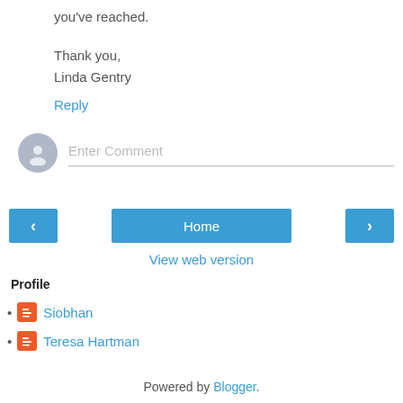you've reached.
Thank you,
Linda Gentry
Reply
[Figure (screenshot): Enter Comment input box with avatar]
[Figure (infographic): Navigation buttons: left arrow, Home, right arrow]
View web version
Profile
Siobhan
Teresa Hartman
Powered by Blogger.